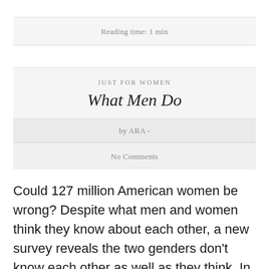Reading time: 1 min
JUST FOR WOMEN
What Men Do
by ARA -
No Comments
Could 127 million American women be wrong? Despite what men and women think they know about each other, a new survey reveals the two genders don't know each other as well as they think. In fact,